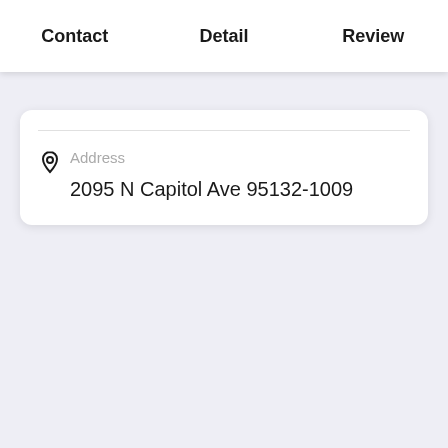Contact  Detail  Review
Address
2095 N Capitol Ave 95132-1009